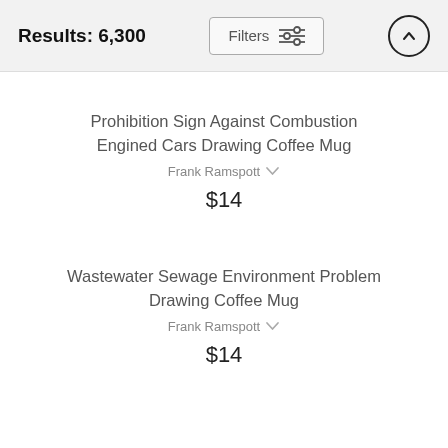Results: 6,300   Filters
Prohibition Sign Against Combustion Engined Cars Drawing Coffee Mug
Frank Ramspott
$14
Wastewater Sewage Environment Problem Drawing Coffee Mug
Frank Ramspott
$14